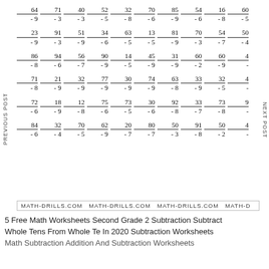[Figure (other): Math subtraction worksheet with 6 rows of 10 single-digit subtraction problems each]
MATH-DRILLS.COM MATH-DRILLS.COM MATH-DRILLS.COM MATH-D
5 Free Math Worksheets Second Grade 2 Subtraction Subtract Whole Tens From Whole Te In 2020 Subtraction Worksheets Math Subtraction Addition And Subtraction Worksheets